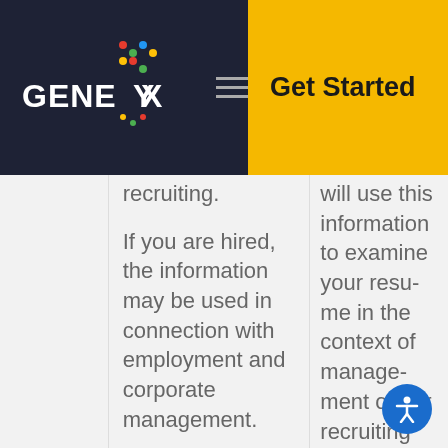GENEYX | Get Started
recruiting.
If you are hired, the information may be used in connection with employment and corporate management.
will use this information to examine your resume in the context of managing our recruiting and hiring process.
We will also use this Personal Information to